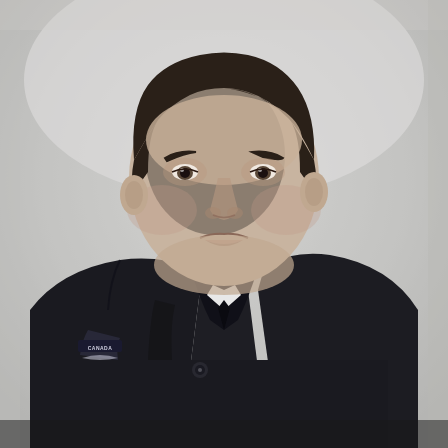[Figure (photo): Black and white portrait photograph of a middle-aged man wearing a dark military uniform with a 'CANADA' shoulder patch visible on the left sleeve. The man has dark hair combed back, a broad face with a slight smile, and is photographed from roughly the chest up against a light gray background. The uniform appears to be RCAF (Royal Canadian Air Force) style.]